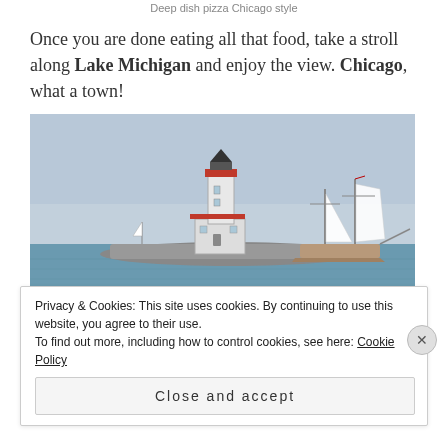Deep dish pizza Chicago style
Once you are done eating all that food, take a stroll along Lake Michigan and enjoy the view. Chicago, what a town!
[Figure (photo): Photo of Chicago Harbor Lighthouse on Lake Michigan with a sailing ship in the background under a hazy blue sky]
Privacy & Cookies: This site uses cookies. By continuing to use this website, you agree to their use.
To find out more, including how to control cookies, see here: Cookie Policy
Close and accept